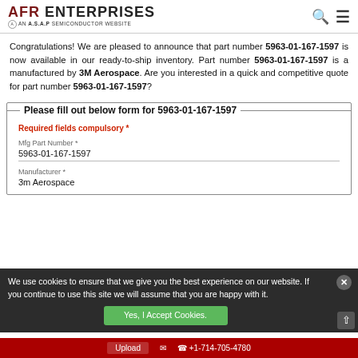AFR ENTERPRISES - AN A.S.A.P SEMICONDUCTOR WEBSITE
Congratulations! We are pleased to announce that part number 5963-01-167-1597 is now available in our ready-to-ship inventory. Part number 5963-01-167-1597 is a manufactured by 3M Aerospace. Are you interested in a quick and competitive quote for part number 5963-01-167-1597?
Please fill out below form for 5963-01-167-1597
Required fields compulsory *
Mfg Part Number *
5963-01-167-1597
Manufacturer *
3m Aerospace
We use cookies to ensure that we give you the best experience on our website. If you continue to use this site we will assume that you are happy with it.
Upload | +1-714-705-4780